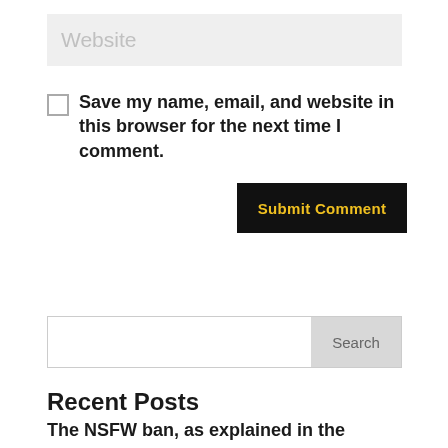Website
Save my name, email, and website in this browser for the next time I comment.
Submit Comment
Search
Recent Posts
The NSFW ban, as explained in the company web log last December, included “explicit sexual content and nudity (with a few exceptions)."